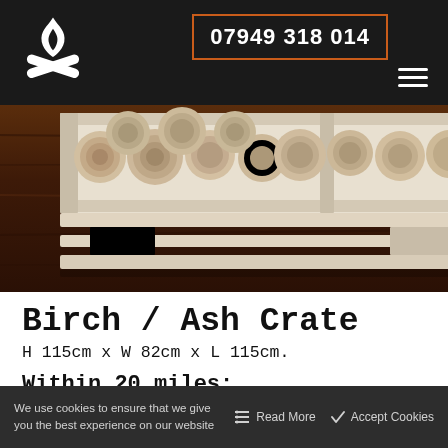07949 318 014
[Figure (photo): A wooden pallet crate filled with birch/ash firewood logs viewed from the side, on a dark wooden surface background.]
Birch / Ash Crate
H 115cm x W 82cm x L 115cm.
Within 20 miles:
We use cookies to ensure that we give you the best experience on our website